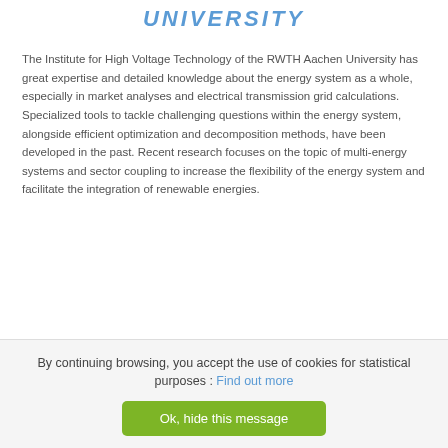UNIVERSITY
The Institute for High Voltage Technology of the RWTH Aachen University has great expertise and detailed knowledge about the energy system as a whole, especially in market analyses and electrical transmission grid calculations. Specialized tools to tackle challenging questions within the energy system, alongside efficient optimization and decomposition methods, have been developed in the past. Recent research focuses on the topic of multi-energy systems and sector coupling to increase the flexibility of the energy system and facilitate the integration of renewable energies.
By continuing browsing, you accept the use of cookies for statistical purposes : Find out more
Ok, hide this message